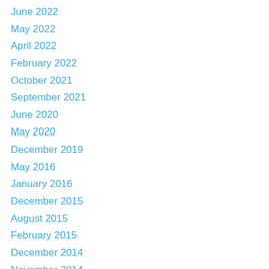June 2022
May 2022
April 2022
February 2022
October 2021
September 2021
June 2020
May 2020
December 2019
May 2016
January 2016
December 2015
August 2015
February 2015
December 2014
November 2014
August 2012
July 2012
June 2012
May 2012